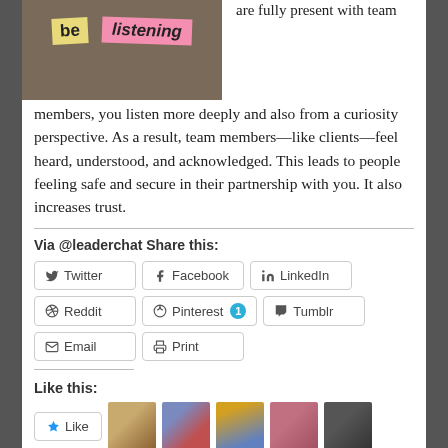[Figure (photo): Photo of sticky notes on a corkboard with words 'be' and 'listening']
are fully present with team members, you listen more deeply and also from a curiosity perspective. As a result, team members—like clients—feel heard, understood, and acknowledged. This leads to people feeling safe and secure in their partnership with you. It also increases trust.
Via @leaderchat Share this:
Twitter  Facebook  LinkedIn  Reddit  Pinterest 1  Tumblr  Email  Print
Like this:
[Figure (photo): Row of avatar photos of people who liked the post]